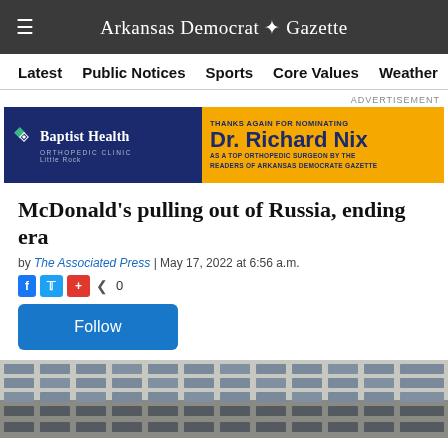Arkansas Democrat Gazette
Latest
Public Notices
Sports
Core Values
Weather
ADVERTISEMENT
[Figure (other): Baptist Health Orthopedic Clinic advertisement featuring Dr. Richard Nix as top orthopedic surgeon nominated by readers of Arkansas Democrat Gazette]
McDonald's pulling out of Russia, ending era
by The Associated Press | May 17, 2022 at 6:56 a.m.
Follow
[Figure (photo): Partial view of a building facade with rows of windows, grey tones, partial photo at bottom of page]